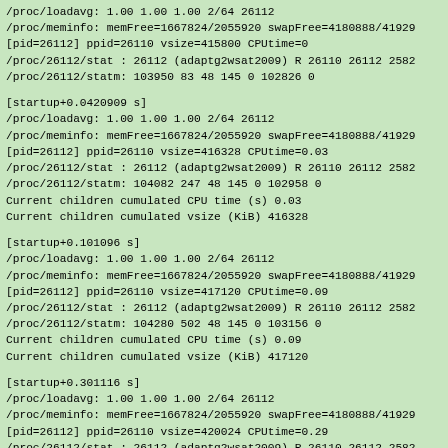/proc/loadavg: 1.00 1.00 1.00 2/64 26112
/proc/meminfo: memFree=1667824/2055920 swapFree=4180888/41929
[pid=26112] ppid=26110 vsize=415800 CPUtime=0
/proc/26112/stat : 26112 (adaptg2wsat2009) R 26110 26112 2582
/proc/26112/statm: 103950 83 48 145 0 102826 0
[startup+0.0420909 s]
/proc/loadavg: 1.00 1.00 1.00 2/64 26112
/proc/meminfo: memFree=1667824/2055920 swapFree=4180888/41929
[pid=26112] ppid=26110 vsize=416328 CPUtime=0.03
/proc/26112/stat : 26112 (adaptg2wsat2009) R 26110 26112 2582
/proc/26112/statm: 104082 247 48 145 0 102958 0
Current children cumulated CPU time (s) 0.03
Current children cumulated vsize (KiB) 416328
[startup+0.101096 s]
/proc/loadavg: 1.00 1.00 1.00 2/64 26112
/proc/meminfo: memFree=1667824/2055920 swapFree=4180888/41929
[pid=26112] ppid=26110 vsize=417120 CPUtime=0.09
/proc/26112/stat : 26112 (adaptg2wsat2009) R 26110 26112 2582
/proc/26112/statm: 104280 502 48 145 0 103156 0
Current children cumulated CPU time (s) 0.09
Current children cumulated vsize (KiB) 417120
[startup+0.301116 s]
/proc/loadavg: 1.00 1.00 1.00 2/64 26112
/proc/meminfo: memFree=1667824/2055920 swapFree=4180888/41929
[pid=26112] ppid=26110 vsize=420024 CPUtime=0.29
/proc/26112/stat : 26112 (adaptg2wsat2009) R 26110 26112 2582
/proc/26112/statm: 105006 1366 48 145 0 103882 0
Current children cumulated CPU time (s) 0.29
Current children cumulated vsize (KiB) 420024